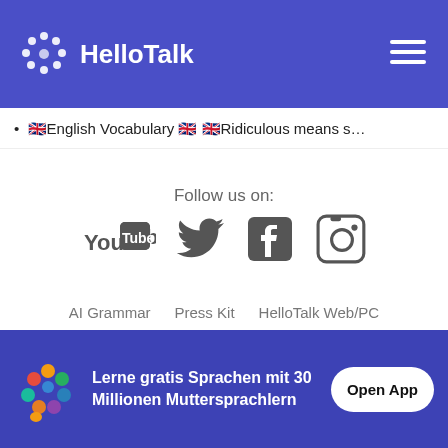[Figure (logo): HelloTalk logo with dot-pattern speech bubble icon and hamburger menu icon on blue navigation bar]
🇬🇧English Vocabulary 🇬🇧 🇬🇧Ridiculous means s…
Follow us on:
[Figure (infographic): Social media icons: YouTube, Twitter, Facebook, Instagram in dark gray]
AI Grammar   Press Kit   HelloTalk Web/PC
Language Partners   Jobs   Blog   About
[Figure (infographic): HelloTalk app download banner with colorful speech bubble logo, German text 'Lerne gratis Sprachen mit 30 Millionen Muttersprachlern' and 'Open App' button on blue background]